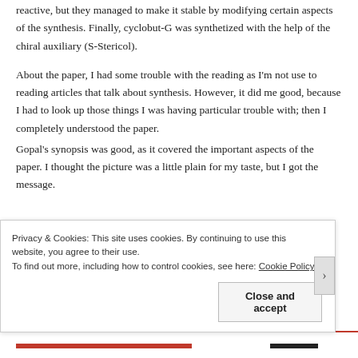reactive, but they managed to make it stable by modifying certain aspects of the synthesis. Finally, cyclobut-G was synthetized with the help of the chiral auxiliary (S-Stericol).
About the paper, I had some trouble with the reading as I'm not use to reading articles that talk about synthesis. However, it did me good, because I had to look up those things I was having particular trouble with; then I completely understood the paper.
Gopal's synopsis was good, as it covered the important aspects of the paper. I thought the picture was a little plain for my taste, but I got the message.
Privacy & Cookies: This site uses cookies. By continuing to use this website, you agree to their use.
To find out more, including how to control cookies, see here: Cookie Policy